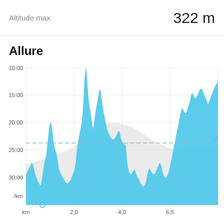Altitude max    322 m
Allure
[Figure (area-chart): Pace (min/km) area chart over distance (~0 to ~8 km). Y-axis shows pace from ~10:00 at top to 30:00 at bottom, labeled /km. X-axis labeled km with ticks at 2.0, 4.0, 6.5. Blue filled area chart showing pace variation with many spikes to fast pace and troughs to slow pace. A dashed horizontal reference line at approximately 18:00 pace. A gray elevation silhouette in the background. Small circle markers at start (bottom left) and end (right side).]